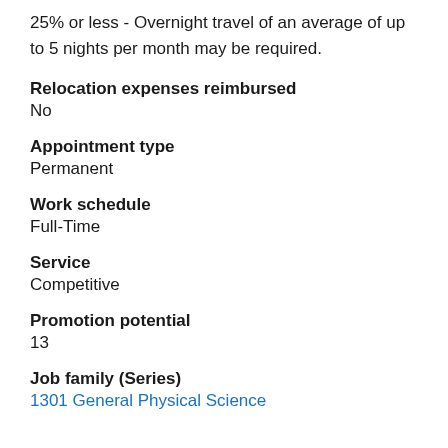25% or less - Overnight travel of an average of up to 5 nights per month may be required.
Relocation expenses reimbursed
No
Appointment type
Permanent
Work schedule
Full-Time
Service
Competitive
Promotion potential
13
Job family (Series)
1301 General Physical Science